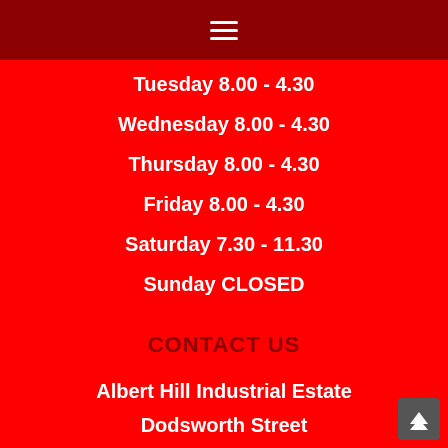hamburger menu icon
Tuesday 8.00 - 4.30
Wednesday 8.00 - 4.30
Thursday 8.00 - 4.30
Friday 8.00 - 4.30
Saturday 7.30 - 11.30
Sunday CLOSED
CONTACT US
Albert Hill Industrial Estate
Dodsworth Street
Darlington
DL1 2NG